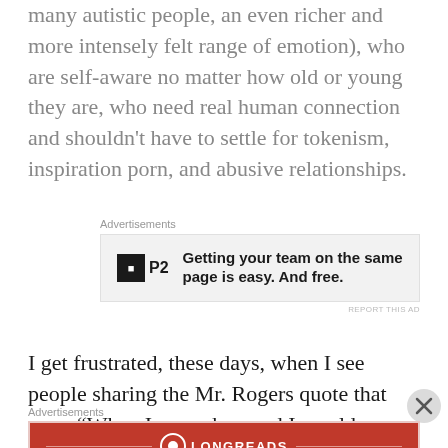many autistic people, an even richer and more intensely felt range of emotion), who are self-aware no matter how old or young they are, who need real human connection and shouldn't have to settle for tokenism, inspiration porn, and abusive relationships.
[Figure (screenshot): Advertisement banner for P2 with text: Getting your team on the same page is easy. And free.]
I get frustrated, these days, when I see people sharing the Mr. Rogers quote that says, “When I was a boy and I would see scary things on the news, my mother would say to me, ‘Look for the helpers. You
[Figure (screenshot): Advertisement banner for Longreads: The best stories on the web — ours, and everyone else’s.]